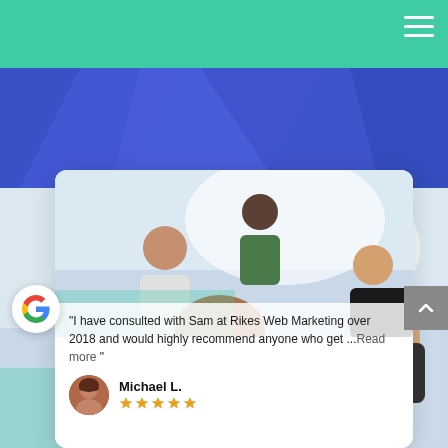[Figure (screenshot): Website screenshot showing a teal navigation bar with hamburger menu icon, a blue hero band with geometric shapes, and a Google review card featuring a photo of a group of people looking at something together. The review card shows a quote from Michael L. with 5 stars: 'I have consulted with Sam at Rikes Web Marketing over 2018 and would highly recommend anyone who get ...Read more'. A Google G logo appears at the bottom-left and a scroll-to-top arrow button at the right.]
"I have consulted with Sam at Rikes Web Marketing over 2018 and would highly recommend anyone who get ...Read more "
Michael L.